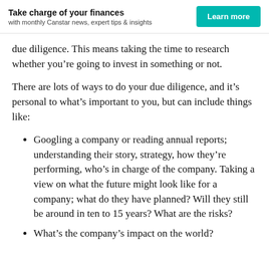Take charge of your finances with monthly Canstar news, expert tips & insights
due diligence. This means taking the time to research whether you’re going to invest in something or not.
There are lots of ways to do your due diligence, and it’s personal to what’s important to you, but can include things like:
Googling a company or reading annual reports; understanding their story, strategy, how they’re performing, who’s in charge of the company. Taking a view on what the future might look like for a company; what do they have planned? Will they still be around in ten to 15 years? What are the risks?
What’s the company’s impact on the world?
Interested in a company they are also in…